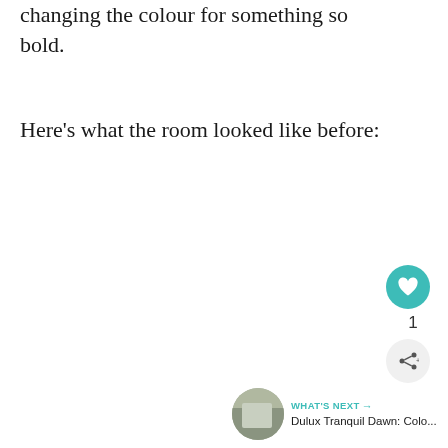changing the colour for something so bold.
Here's what the room looked like before:
[Figure (infographic): UI overlay with heart/like button showing count of 1, a share button, and a 'What's Next' recommendation card for 'Dulux Tranquil Dawn: Colo...' with a thumbnail image]